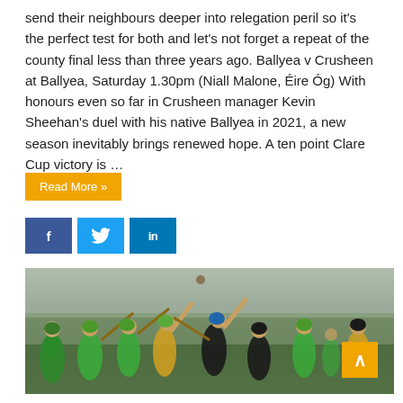send their neighbours deeper into relegation peril so it's the perfect test for both and let's not forget a repeat of the county final less than three years ago. Ballyea v Crusheen at Ballyea, Saturday 1.30pm (Niall Malone, Éire Óg) With honours even so far in Crusheen manager Kevin Sheehan's duel with his native Ballyea in 2021, a new season inevitably brings renewed hope. A ten point Clare Cup victory is …
Read More »
[Figure (photo): Hurling match action photo showing players in green/yellow jerseys and black/yellow jerseys competing on a pitch, reaching for the ball with hurleys raised.]